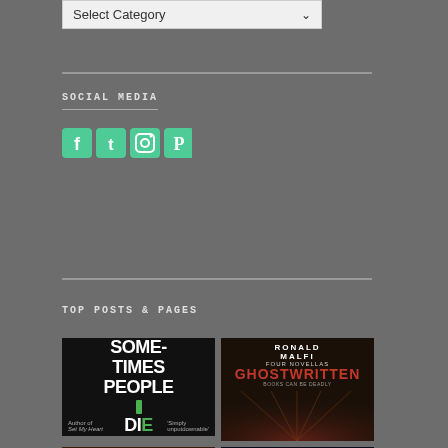[Figure (screenshot): Dropdown selector with 'Select Category' placeholder and chevron arrow]
SOCIAL MEDIA
[Figure (illustration): Four social media icons in teal/green: Facebook, Twitter, Instagram, Pinterest]
TOP POSTS & PAGES
[Figure (photo): Book cover: Sometimes People Die - black cover with large white text and green figure]
[Figure (photo): Book cover: Ronald Malfi - Ghostwritten: Four Novellas - Books Can Be Deadly, dark cover with red text and silhouette figure]
[Figure (photo): Book cover: Sound - dark reddish cover with large white text]
[Figure (photo): Book cover: James Carol writing as J.S. Carol - dark cover with red italic text]